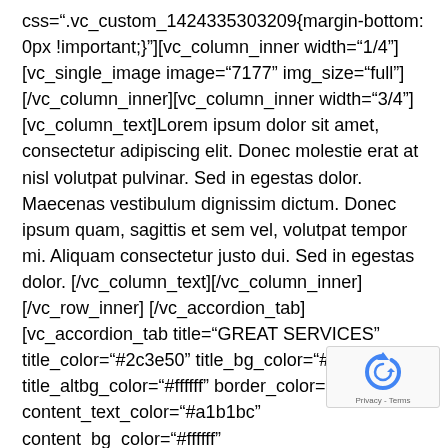css=".vc_custom_1424335303209{margin-bottom: 0px !important;}"][vc_column_inner width="1/4"][vc_single_image image="7177" img_size="full"][/vc_column_inner][vc_column_inner width="3/4"][vc_column_text]Lorem ipsum dolor sit amet, consectetur adipiscing elit. Donec molestie erat at nisl volutpat pulvinar. Sed in egestas dolor. Maecenas vestibulum dignissim dictum. Donec ipsum quam, sagittis et sem vel, volutpat tempor mi. Aliquam consectetur justo dui. Sed in egestas dolor.[/vc_column_text][/vc_column_inner][/vc_row_inner][/vc_accordion_tab][vc_accordion_tab title="GREAT SERVICES" title_color="#2c3e50" title_bg_color="#ffffff" title_altbg_color="#ffffff" border_color="#eceef0" content_text_color="#a1b1bc" content_bg_color="#ffffff" active_title_color="#2c3e50" active_bg_color="#ffffff" active_altbg_color="#ffffff"][vc_row_inner
[Figure (logo): reCAPTCHA logo with circular arrows icon and 'Privacy - Terms' label]